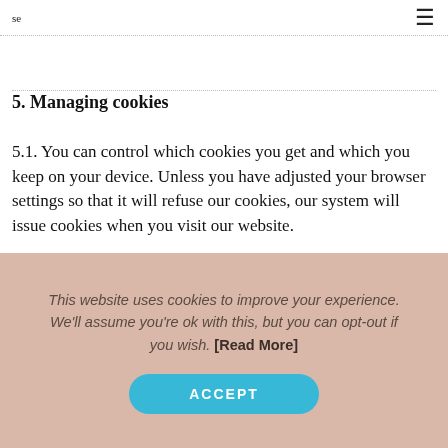se
5. Managing cookies
5.1. You can control which cookies you get and which you keep on your device. Unless you have adjusted your browser settings so that it will refuse our cookies, our system will issue cookies when you visit our website.
5.2. Many web browsers can be set up to ask for your prior consent before an individual cookie is set on your device. This will give you control over your cookies but naturally may interfere with your browsing experience is if you have to accept each cookie on our
This website uses cookies to improve your experience. We'll assume you're ok with this, but you can opt-out if you wish. [Read More]